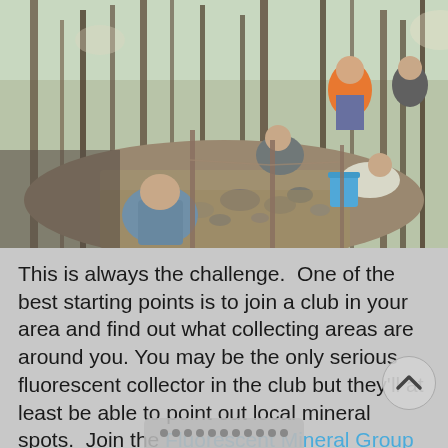[Figure (photo): Outdoor photo of several people digging and collecting minerals/rocks in a wooded area. People are crouching and standing along a dig site among trees with fallen leaves on the ground. One person wears an orange shirt, another a plaid shirt. A blue bucket is visible.]
This is always the challenge.  One of the best starting points is to join a club in your area and find out what collecting areas are around you. You may be the only serious fluorescent collector in the club but they'll at least be able to point out local mineral spots.  Join the Fluorescent Mineral Group on Facebook - lots of folks from all over the world to help